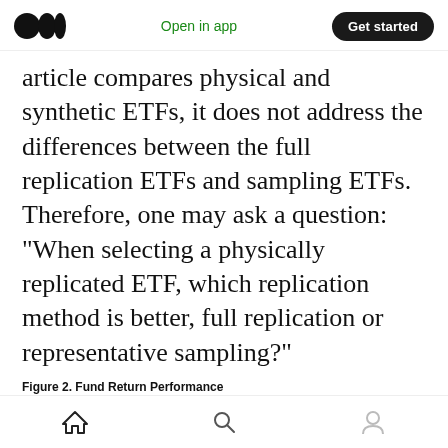Open in app | Get started
article compares physical and synthetic ETFs, it does not address the differences between the full replication ETFs and sampling ETFs. Therefore, one may ask a question: “When selecting a physically replicated ETF, which replication method is better, full replication or representative sampling?”
Figure 2. Fund Return Performance
This figure shows how the mean of net returns and abnormal net returns vary over our sample period for replicator and sampler index funds. Abnormal net returns is the difference between net returns and the full sample mean of net returns for the year. Other variables are defined in Table 1. The sample consists of 3,365 U.S.-based equity index fund-years during the period 2010 through 2020.
[Figure (other): Partial view of a chart showing fund return performance data, mostly cropped. A y-axis label appears at the left with a value near 0, and a small dot is visible in the chart area.]
Home | Search | Profile